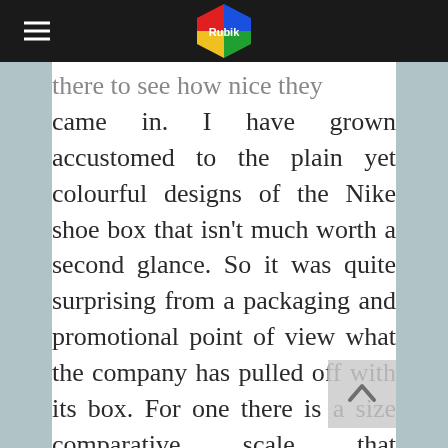Rubik
there to see how nice they came in. I have grown accustomed to the plain yet colourful designs of the Nike shoe box that isn't much worth a second glance. So it was quite surprising from a packaging and promotional point of view what the company has pulled off with its box. For one there is a size comparative scale that compares different international foot sizes and juxtaposes this against everyday objects. What's more is the space of what is essential a pivotal fold, the company has managed to